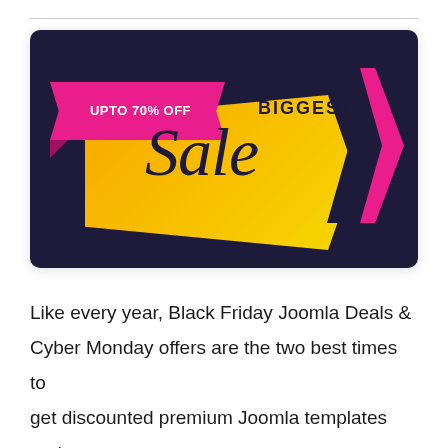[Figure (illustration): Black Friday / Cyber Monday sale banner: dark navy background with a yellow-orange arrow shape, a hot pink ribbon reading 'UPTO 70% OFF', bold text 'BIGGEST' and script text 'Sale', and pink chevron arrows on the right.]
Like every year, Black Friday Joomla Deals & Cyber Monday offers are the two best times to get discounted premium Joomla templates and extensions. It's best TechiBiz success success...